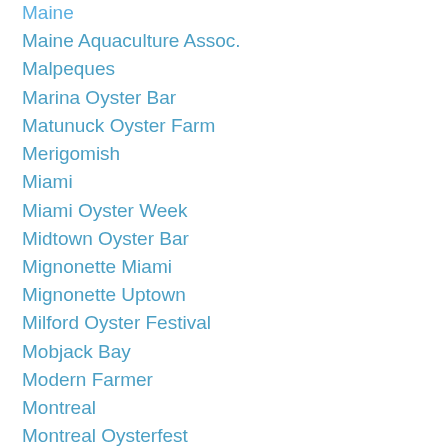Maine
Maine Aquaculture Assoc.
Malpeques
Marina Oyster Bar
Matunuck Oyster Farm
Merigomish
Miami
Miami Oyster Week
Midtown Oyster Bar
Mignonette Miami
Mignonette Uptown
Milford Oyster Festival
Mobjack Bay
Modern Farmer
Montreal
Montreal Oysterfest
Naked Cowboy Oysters
National Oyster Day
Neptune Oysters
New York Oyster Week
Normandie